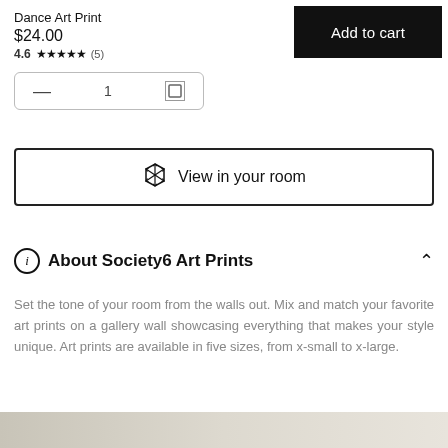Dance Art Print
$24.00
4.6★★★★★ (5)
[Figure (other): Add to cart button, black background with white text]
[Figure (other): Quantity selector box with minus sign, value 1, and delete/edit icon]
[Figure (other): View in your room button with AR cube icon]
About Society6 Art Prints
Set the tone of your room from the walls out. Mix and match your favorite art prints on a gallery wall showcasing everything that makes your style unique. Art prints are available in five sizes, from x-small to x-large.
[Figure (photo): Partial product image at bottom of page, showing a decorative art print in a room setting]